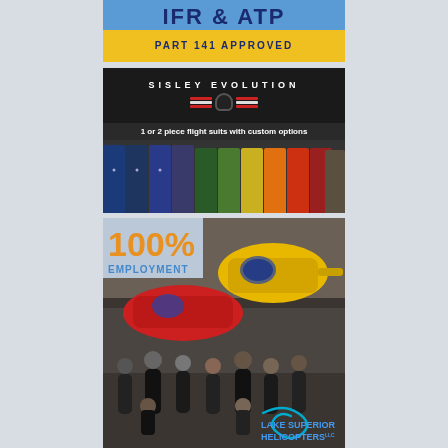[Figure (photo): Advertisement banner for IFR & ATP Part 141 Approved flight training, partial view at top of page with blue sky background and yellow lower section]
[Figure (photo): Sisley Evolution advertisement showing flight suits in various colors hanging in a row. Dark header with brand logo (wings and helmet). Text: '1 or 2 piece flight suits with custom options'. Footer: 'MADE TO THE HIGHEST STANDARDS! Call today 321.321.4724 or visit seflightsuits.com']
[Figure (photo): Lake Superior Helicopters LLC advertisement featuring group of students/employees in front of yellow and red helicopters in a hangar. Badge showing '100% EMPLOYMENT' in orange and blue. Brand logo in bottom right corner with teal swirl graphic.]